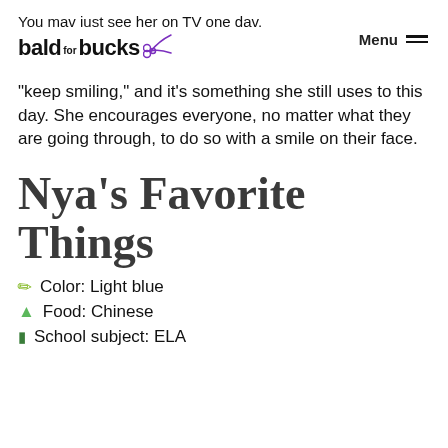You may just see her on TV one day.
bald for bucks [scissors icon]   Menu =
“keep smiling,” and it’s something she still uses to this day. She encourages everyone, no matter what they are going through, to do so with a smile on their face.
Nya’s Favorite Things
Color: Light blue
Food: Chinese
School subject: ELA